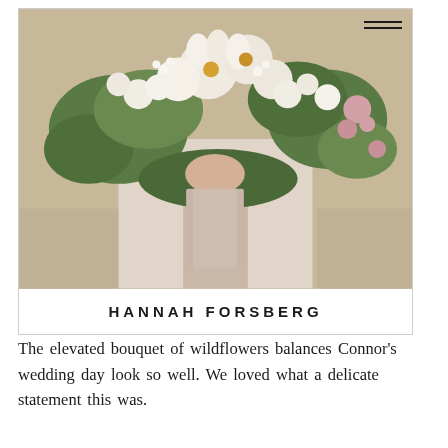[Figure (photo): A bride or person in a white/blush dress holding a large, lush wildflower bouquet with white flowers, green foliage, and pink accents, with a blush/taupe ribbon. The photograph is styled with a soft, airy aesthetic.]
HANNAH FORSBERG
The elevated bouquet of wildflowers balances Connor's wedding day look so well. We loved what a delicate statement this was.